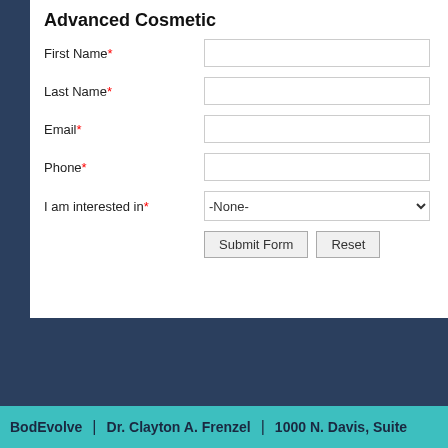Advanced Cosmetic
First Name*
Last Name*
Email*
Phone*
I am interested in*
-None- (dropdown)
Submit Form | Reset
BodEvolve  |  Dr. Clayton A. Frenzel  |  1000 N. Davis, Suite